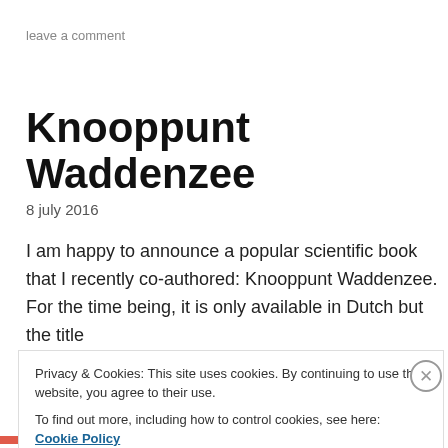leave a comment
Knooppunt Waddenzee
8 july 2016
I am happy to announce a popular scientific book that I recently co-authored: Knooppunt Waddenzee. For the time being, it is only available in Dutch but the title
Privacy & Cookies: This site uses cookies. By continuing to use this website, you agree to their use.
To find out more, including how to control cookies, see here: Cookie Policy
Close and accept